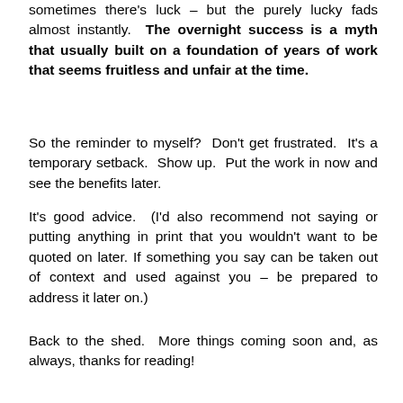sometimes there's luck – but the purely lucky fads almost instantly. The overnight success is a myth that usually built on a foundation of years of work that seems fruitless and unfair at the time.
So the reminder to myself? Don't get frustrated. It's a temporary setback. Show up. Put the work in now and see the benefits later.
It's good advice. (I'd also recommend not saying or putting anything in print that you wouldn't want to be quoted on later. If something you say can be taken out of context and used against you – be prepared to address it later on.)
Back to the shed. More things coming soon and, as always, thanks for reading!